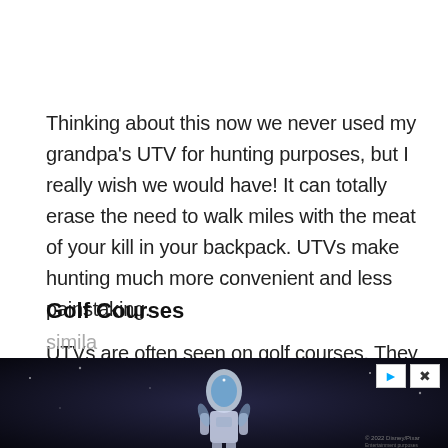Thinking about this now we never used my grandpa's UTV for hunting purposes, but I really wish we would have! It can totally erase the need to walk miles with the meat of your kill in your backpack. UTVs make hunting much more convenient and less painstaking.
Golf Courses
UTVs are often seen on golf courses. They aren't golf carts, however, but both vehicles do look pretty simila...
[Figure (screenshot): Advertisement banner at bottom of page showing a dark scene with an animated/movie character (appears to be Buzz Lightyear), with play and close buttons in top right corner. Text 'simila' partially visible above the ad.]